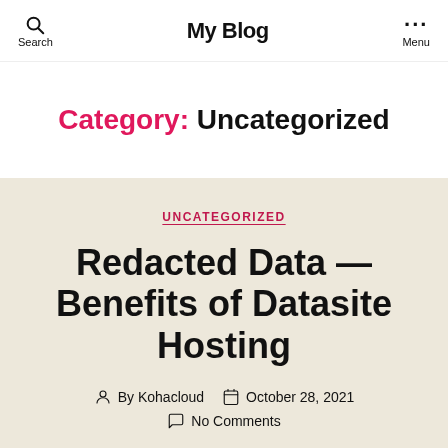Search | My Blog | Menu
Category: Uncategorized
UNCATEGORIZED
Redacted Data — Benefits of Datasite Hosting
By Kohacloud  October 28, 2021  No Comments